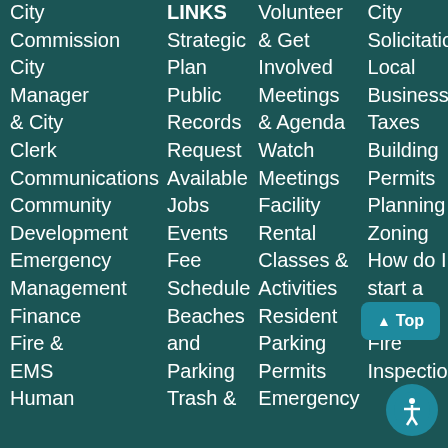City Commission
LINKS
Volunteer & Get Involved
City Solicitations
City Manager & City Clerk
Strategic Plan
Meetings & Agenda
Local Business
Communications
Public Records Request Available
Watch Meetings
Taxes
Community Development
Jobs
Facility Rental
Building Permits
Emergency Management
Events
Classes & Activities
Planning & Zoning
Finance
Fee Schedule
Resident Parking Permits
How do I start a business
Fire & EMS
Beaches and Parking
Emergency
Fire Inspections
Human
Trash &